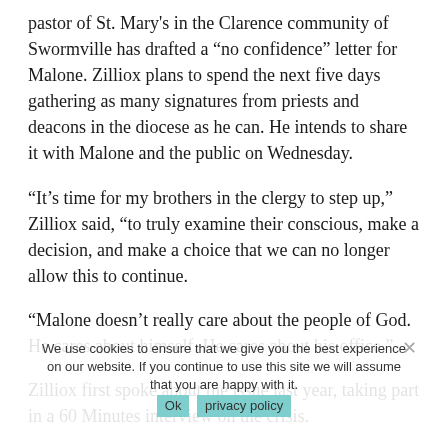pastor of St. Mary's in the Clarence community of Swormville has drafted a “no confidence” letter for Malone. Zilliox plans to spend the next five days gathering as many signatures from priests and deacons in the diocese as he can. He intends to share it with Malone and the public on Wednesday.
“It’s time for my brothers in the clergy to step up,” Zilliox said, “to truly examine their conscious, make a decision, and make a choice that we can no longer allow this to continue.
“Malone doesn’t really care about the people of God. He cares about himself. He cares about his office.”
Zilliox first spoke about the issue last year, taking part in a 60 Minutes interview on the crisis.
“I gave (Malone) a year,” Zilliox said. “I gave him a year to show the Diocese of Buffalo and the community that he was serious about restoring trust, reforming this, making a difference, and approach things in a whole new light. Obviously the events of the last few weeks and months indicate that’s not the case.”
We use cookies to ensure that we give you the best experience on our website. If you continue to use this site we will assume that you are happy with it.